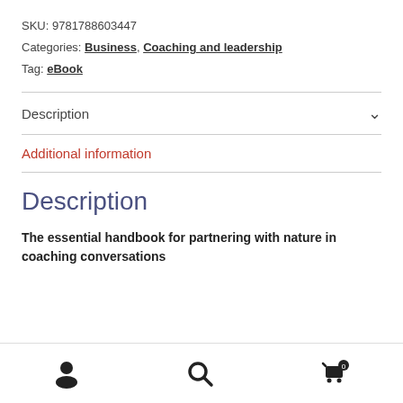SKU: 9781788603447
Categories: Business, Coaching and leadership
Tag: eBook
Description
Additional information
Description
The essential handbook for partnering with nature in coaching conversations